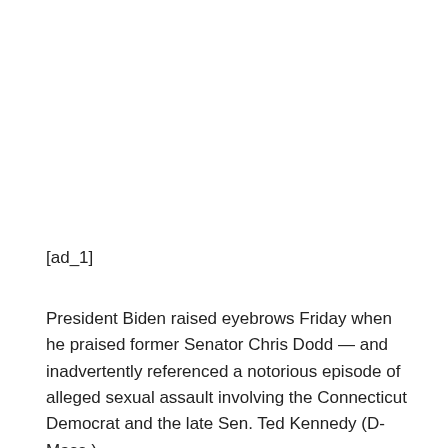[ad_1]
President Biden raised eyebrows Friday when he praised former Senator Chris Dodd — and inadvertently referenced a notorious episode of alleged sexual assault involving the Connecticut Democrat and the late Sen. Ted Kennedy (D-Mass.).